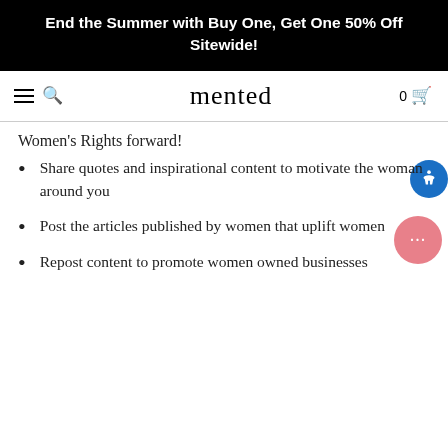End the Summer with Buy One, Get One 50% Off Sitewide!
mented
Women's Rights forward!
Share quotes and inspirational content to motivate the woman around you
Post the articles published by women that uplift women
Repost content to promote women owned businesses